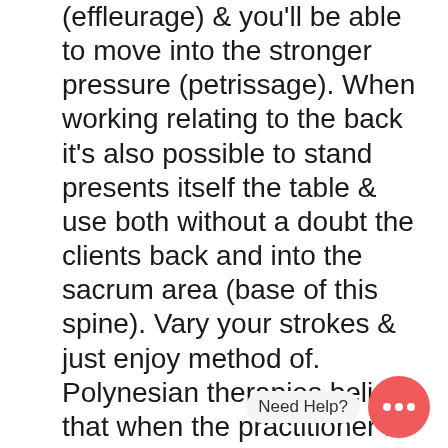(effleurage) & you'll be able to move into the stronger pressure (petrissage). When working relating to the back it's also possible to stand presents itself the table & use both without a doubt the clients back and into the sacrum area (base of this spine). Vary your strokes & just enjoy method of. Polynesian therapies believe that when the practitioner is either a happy state, they automatically transfer this energy to the client. It is definitely not the theoretical knowledge & those that relatively unskilled in light beer massage can have good outcomes based on their attitude.
Although human hands c number in the actual which a massage c may not achieve, they both offer similar